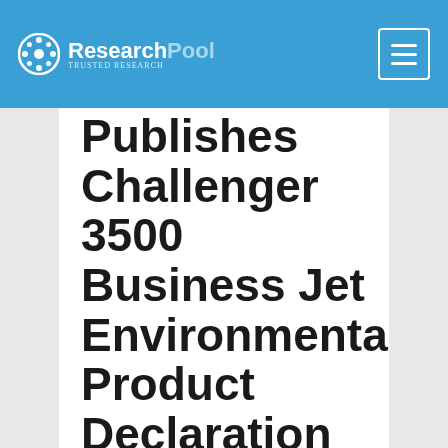ResearchPool
Publishes Challenger 3500 Business Jet Environmental Product Declaration
Challenger 3500 aircraft Environmental Product Declaration (EPD) provides detailed information about the aircraft's life cycle environmental footprint
Industry leading super mid-sized business joins flagship Global 7500 as EPD qualified